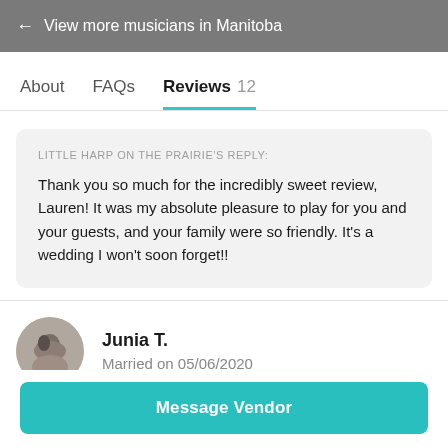← View more musicians in Manitoba
About   FAQs   Reviews 12
LITTLE HARP ON THE PRAIRIE'S REPLY:
Thank you so much for the incredibly sweet review, Lauren! It was my absolute pleasure to play for you and your guests, and your family were so friendly. It's a wedding I won't soon forget!!
Junia T.
Married on 05/06/2020
Message Vendor